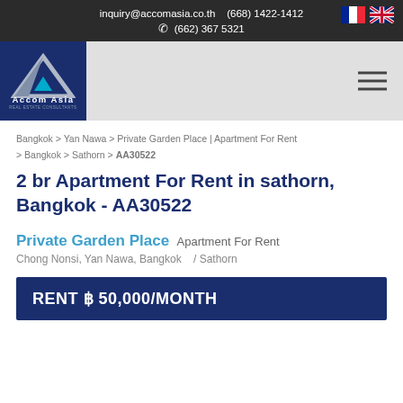inquiry@accomasia.co.th  (668) 1422-1412  (662) 367 5321
[Figure (logo): Accom Asia real estate consultants logo, white triangle/chevron on dark blue background]
Bangkok > Yan Nawa > Private Garden Place | Apartment For Rent > Bangkok > Sathorn > AA30522
2 br Apartment For Rent in sathorn, Bangkok - AA30522
Private Garden Place Apartment For Rent
Chong Nonsi, Yan Nawa, Bangkok   / Sathorn
RENT ฿ 50,000/MONTH